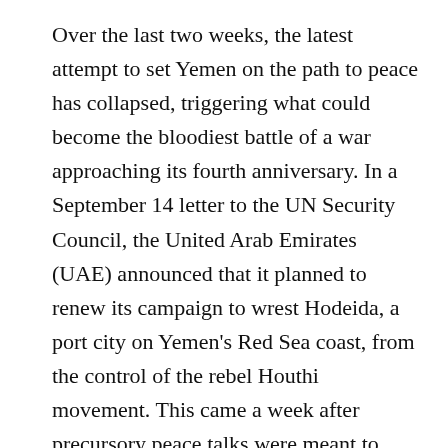Over the last two weeks, the latest attempt to set Yemen on the path to peace has collapsed, triggering what could become the bloodiest battle of a war approaching its fourth anniversary. In a September 14 letter to the UN Security Council, the United Arab Emirates (UAE) announced that it planned to renew its campaign to wrest Hodeida, a port city on Yemen's Red Sea coast, from the control of the rebel Houthi movement. This came a week after precursory peace talks were meant to start in Geneva. The Houthis have pledged to battle UAE-backed forces to the last man.
Although not unexpected, the swift collapse of peace efforts is deeply disappointing. In June, UAE-backed Yemeni forces agreed to pause their campaign to take Hodeida, first to allow for negotiations over a